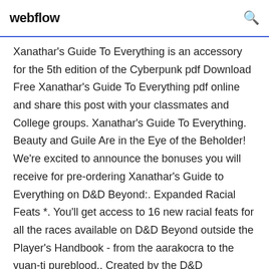webflow
Xanathar's Guide To Everything is an accessory for the 5th edition of the Cyberpunk pdf Download Free Xanathar's Guide To Everything pdf online and share this post with your classmates and College groups. Xanathar's Guide To Everything. Beauty and Guile Are in the Eye of the Beholder! We're excited to announce the bonuses you will receive for pre-ordering Xanathar's Guide to Everything on D&D Beyond:. Expanded Racial Feats *. You'll get access to 16 new racial feats for all the races available on D&D Beyond outside the Player's Handbook - from the aarakocra to the yuan-ti pureblood.. Created by the D&D